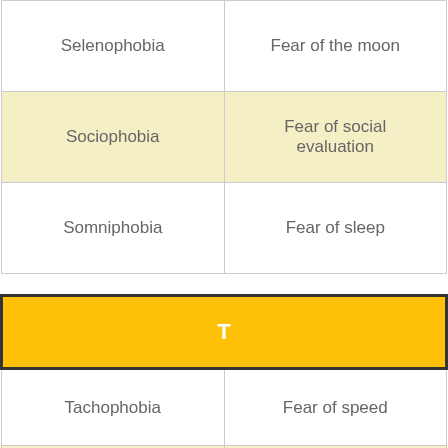| Phobia | Meaning |
| --- | --- |
| Selenophobia | Fear of the moon |
| Sociophobia | Fear of social evaluation |
| Somniphobia | Fear of sleep |
| T |  |
| Tachophobia | Fear of speed |
| Technophobia | Fear of technology |
| Tonitrophobia | Fear of thunder |